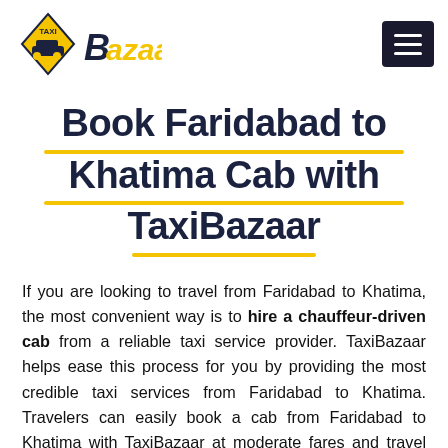[Figure (logo): TaxiBazaar logo with yellow diamond taxi icon and bold stylized B Bazaar text]
Book Faridabad to Khatima Cab with TaxiBazaar
If you are looking to travel from Faridabad to Khatima, the most convenient way is to hire a chauffeur-driven cab from a reliable taxi service provider. TaxiBazaar helps ease this process for you by providing the most credible taxi services from Faridabad to Khatima. Travelers can easily book a cab from Faridabad to Khatima with TaxiBazaar at moderate fares and travel most comfortably. Book a Sedan or SUV car from Faridabad to Khatima at your own discretion with